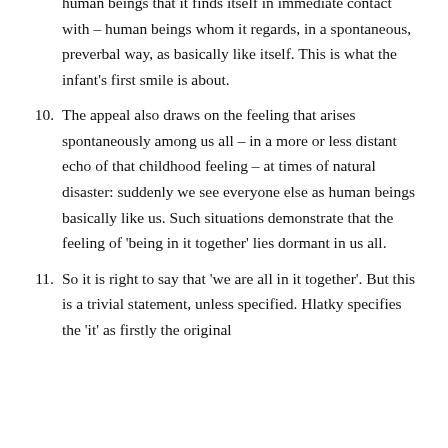human beings that it finds itself in immediate contact with – human beings whom it regards, in a spontaneous, preverbal way, as basically like itself. This is what the infant's first smile is about.
10. The appeal also draws on the feeling that arises spontaneously among us all – in a more or less distant echo of that childhood feeling – at times of natural disaster: suddenly we see everyone else as human beings basically like us. Such situations demonstrate that the feeling of 'being in it together' lies dormant in us all.
11. So it is right to say that 'we are all in it together'. But this is a trivial statement, unless specified. Hlatky specifies the 'it' as firstly the original